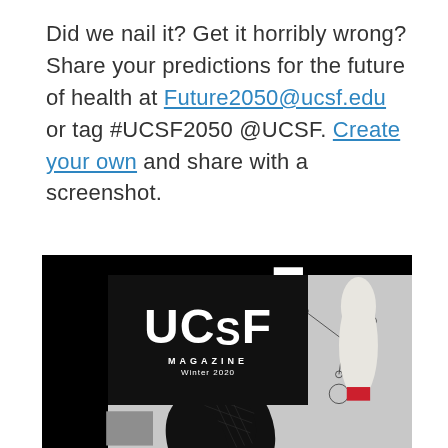Did we nail it? Get it horribly wrong? Share your predictions for the future of health at Future2050@ucsf.edu or tag #UCSF2050 @UCSF. Create your own and share with a screenshot.
[Figure (photo): UCSF Magazine Winter 2020 cover showing the UCSF logo on dark background, with abstract black geometric shapes and a white sculptural hand/finger on a gray background]